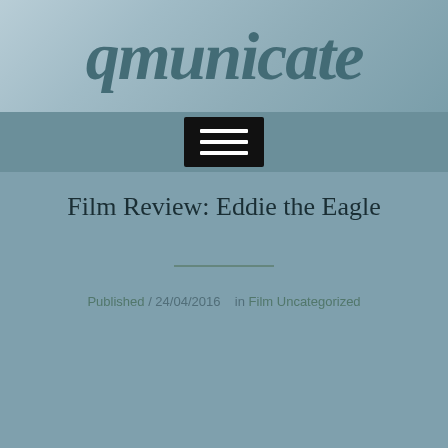[Figure (logo): qmunicate logo in handwritten-style dark teal italic text on light blue-grey cloudy background]
[Figure (other): Navigation bar with black hamburger menu button showing three white horizontal lines]
Film Review: Eddie the Eagle
Published 24/04/2016   in Film Uncategorized